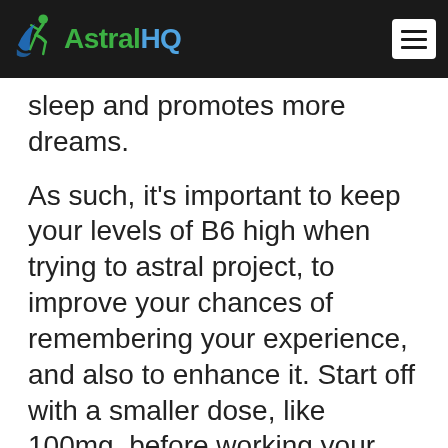AstralHQ
sleep and promotes more dreams.
As such, it’s important to keep your levels of B6 high when trying to astral project, to improve your chances of remembering your experience, and also to enhance it. Start off with a smaller dose, like 100mg, before working your way up to something like 250mg, and you’ll see your OBEs becoming more and more fascinating and memorable.
Alternatively...